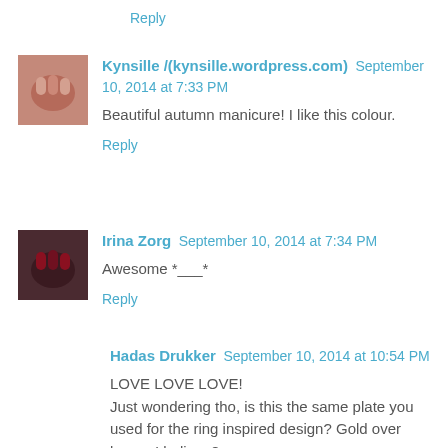Reply
Kynsille /(kynsille.wordpress.com)  September 10, 2014 at 7:33 PM
Beautiful autumn manicure! I like this colour.
Reply
Irina Zorg  September 10, 2014 at 7:34 PM
Awesome *___*
Reply
Hadas Drukker  September 10, 2014 at 10:54 PM
LOVE LOVE LOVE!
Just wondering tho, is this the same plate you used for the ring inspired design? Gold over brown I believe?
Reply